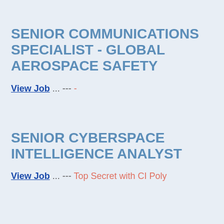SENIOR COMMUNICATIONS SPECIALIST - GLOBAL AEROSPACE SAFETY
View Job ... --- -
SENIOR CYBERSPACE INTELLIGENCE ANALYST
View Job ... --- Top Secret with CI Poly